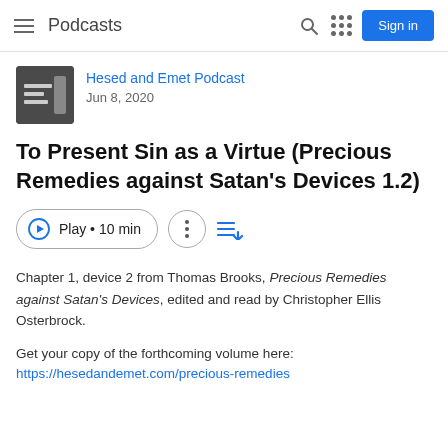≡  Podcasts   [search] [grid] [Sign in]
Hesed and Emet Podcast
Jun 8, 2020
To Present Sin as a Virtue (Precious Remedies against Satan's Devices 1.2)
Play • 10 min
Chapter 1, device 2 from Thomas Brooks, Precious Remedies against Satan's Devices, edited and read by Christopher Ellis Osterbrock.
Get your copy of the forthcoming volume here:
https://hesedandemet.com/precious-remedies